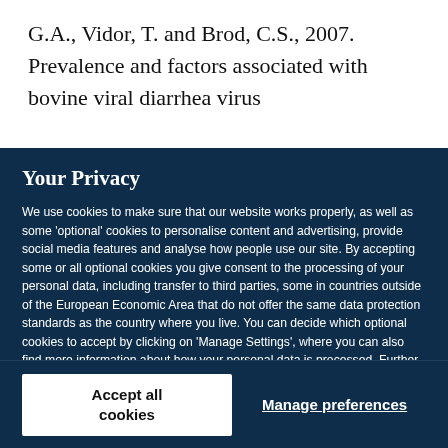G.A., Vidor, T. and Brod, C.S., 2007. Prevalence and factors associated with bovine viral diarrhea virus
Your Privacy
We use cookies to make sure that our website works properly, as well as some 'optional' cookies to personalise content and advertising, provide social media features and analyse how people use our site. By accepting some or all optional cookies you give consent to the processing of your personal data, including transfer to third parties, some in countries outside of the European Economic Area that do not offer the same data protection standards as the country where you live. You can decide which optional cookies to accept by clicking on 'Manage Settings', where you can also find more information about how your personal data is processed. Further information can be found in our privacy policy.
Accept all cookies
Manage preferences